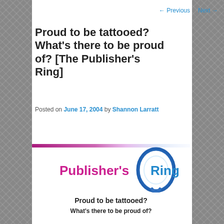← Previous   Next →
Proud to be tattooed? What's there to be proud of? [The Publisher's Ring]
Posted on June 17, 2004 by Shannon Larratt
[Figure (logo): Publisher's Ring logo with a horizontal gradient bar and stylized text 'Publisher's Ring' in pink/magenta with a blue ring graphic]
Proud to be tattooed? What's there to be proud of?